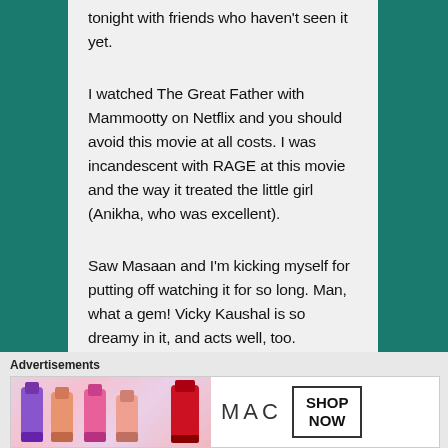tonight with friends who haven't seen it yet.
I watched The Great Father with Mammootty on Netflix and you should avoid this movie at all costs. I was incandescent with RAGE at this movie and the way it treated the little girl (Anikha, who was excellent).
Saw Masaan and I'm kicking myself for putting off watching it for so long. Man, what a gem! Vicky Kaushal is so dreamy in it, and acts well, too.
Advertisements
[Figure (photo): MAC Cosmetics advertisement showing lipsticks in purple, pink, and red colors with MAC logo and SHOP NOW button]